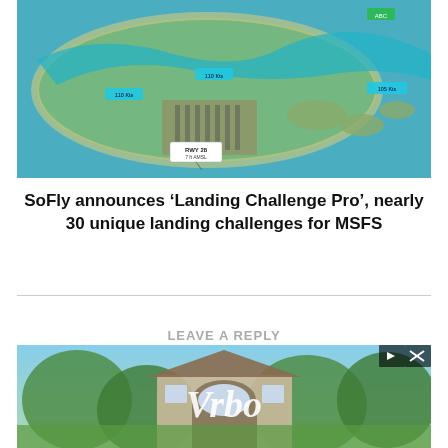[Figure (photo): Aerial satellite view of a tropical island atoll with a runway/airport visible, surrounded by turquoise water. Several blue overlay labels and annotations are visible on the image indicating landing challenge locations.]
SoFly announces ‘Landing Challenge Pro’, nearly 30 unique landing challenges for MSFS
[Figure (photo): Vrbo advertisement banner showing a large house/villa with an arched entrance surrounded by trees, with the Vrbo logo overlaid in white text. Contains play and close buttons in the top right.]